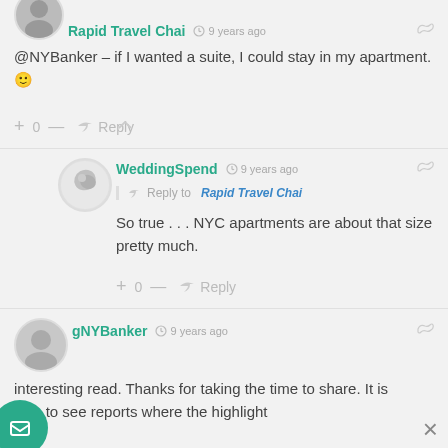Rapid Travel Chai  9 years ago
@NYBanker – if I wanted a suite, I could stay in my apartment. 🙂
+ 0 —  Reply
WeddingSpend  9 years ago
Reply to Rapid Travel Chai
So true . . . NYC apartments are about that size pretty much.
+ 0 —  Reply
gNYBanker  9 years ago
interesting read. Thanks for taking the time to share. It is nice to see reports where the highlight